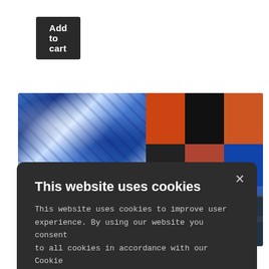[Figure (screenshot): Add to cart dark button at top left]
[Figure (photo): Abstract blue and white painted artwork on left background]
[Figure (photo): Abstract colorful grid artwork on right background with red, blue, black and teal colors]
- Suppress
This website uses cookies
This website uses cookies to improve user experience. By using our website you consent to all cookies in accordance with our Cookie Policy. Read more
PERFORMANCE
ACCEPT ALL
DECLINE ALL
SHOW DETAILS
POWERED BY COOKIE-SCRIPT